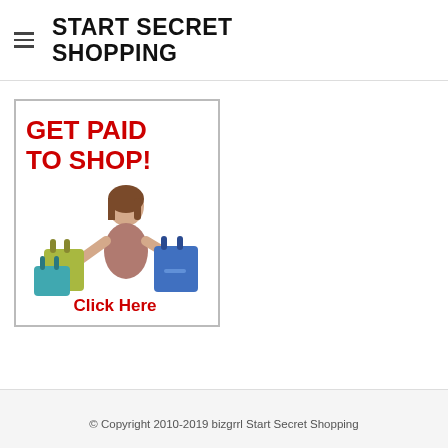START SECRET SHOPPING
[Figure (illustration): Advertisement banner with 'GET PAID TO SHOP!' in red bold text, an illustration of a smiling woman holding colorful shopping bags, and 'Click Here' in red text at the bottom. White background with a gray border.]
© Copyright 2010-2019 bizgrrl Start Secret Shopping